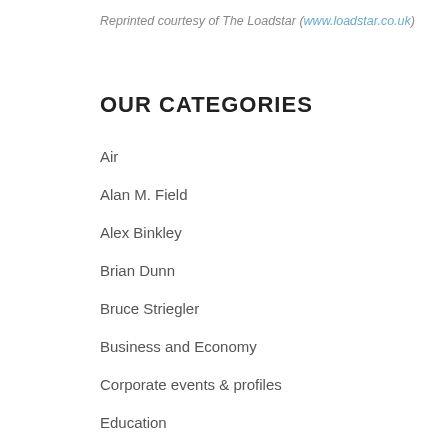Reprinted courtesy of The Loadstar (www.loadstar.co.uk)
OUR CATEGORIES
Air
Alan M. Field
Alex Binkley
Brian Dunn
Bruce Striegler
Business and Economy
Corporate events & profiles
Education
Environment
Front Page Post
Gateways and Corridors